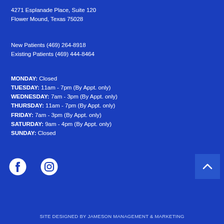4271 Esplanade Place, Suite 120
Flower Mound, Texas 75028
New Patients (469) 264-8918
Existing Patients (469) 444-8464
MONDAY: Closed
TUESDAY: 11am - 7pm (By Appt. only)
WEDNESDAY: 7am - 3pm (By Appt. only)
THURSDAY: 11am - 7pm (By Appt. only)
FRIDAY: 7am - 3pm (By Appt. only)
SATURDAY: 9am - 4pm (By Appt. only)
SUNDAY: Closed
[Figure (logo): Facebook and Instagram social media icons]
SITE DESIGNED BY JAMESON MANAGEMENT & MARKETING